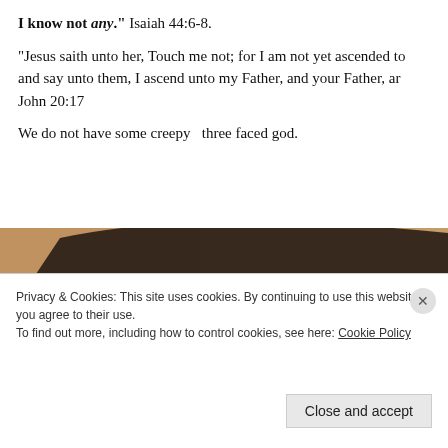I know not any." Isaiah 44:6-8.
"Jesus saith unto her, Touch me not; for I am not yet ascended to and say unto them, I ascend unto my Father, and your Father, ar John 20:17
We do not have some creepy  three faced god.
[Figure (photo): Close-up photograph of an eye from a painting or artwork, showing a large dark eye with detailed lashes and textured skin tones in golden-brown.]
Privacy & Cookies: This site uses cookies. By continuing to use this website, you agree to their use. To find out more, including how to control cookies, see here: Cookie Policy
Close and accept